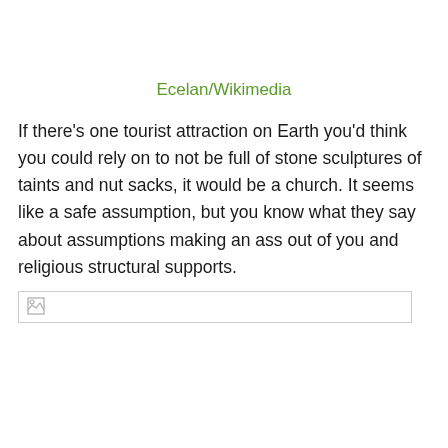Ecelan/Wikimedia
If there's one tourist attraction on Earth you'd think you could rely on to not be full of stone sculptures of taints and nut sacks, it would be a church. It seems like a safe assumption, but you know what they say about assumptions making an ass out of you and religious structural supports.
[Figure (photo): Placeholder image box at the bottom of the text block]